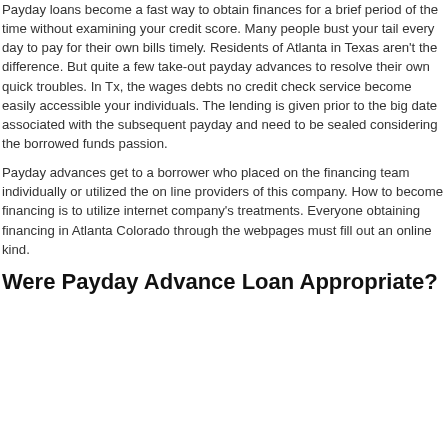Payday loans become a fast way to obtain finances for a brief period of the time without examining your credit score. Many people bust your tail every day to pay for their own bills timely. Residents of Atlanta in Texas aren't the difference. But quite a few take-out payday advances to resolve their own quick troubles. In Tx, the wages debts no credit check service become easily accessible your individuals. The lending is given prior to the big date associated with the subsequent payday and need to be sealed considering the borrowed funds passion.
Payday advances get to a borrower who placed on the financing team individually or utilized the on line providers of this company. How to become financing is to utilize internet company's treatments. Everyone obtaining financing in Atlanta Colorado through the webpages must fill out an online kind.
Were Payday Advance Loan Appropriate?